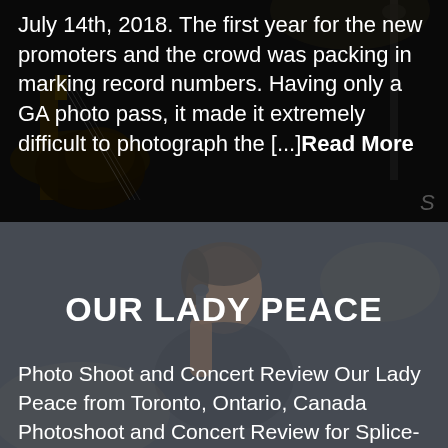[Figure (photo): Dark concert photo with guitar and performer visible in background, overlaid with white text]
July 14th, 2018. The first year for the new promoters and the crowd was packing in marking record numbers. Having only a GA photo pass, it made it extremely difficult to photograph the [...] Read More
[Figure (photo): Dark concert photo of a singer/performer with microphone, overlaid with title and text]
OUR LADY PEACE
Photo Shoot and Concert Review Our Lady Peace from Toronto, Ontario, Canada Photoshoot and Concert Review for Splice-Media...